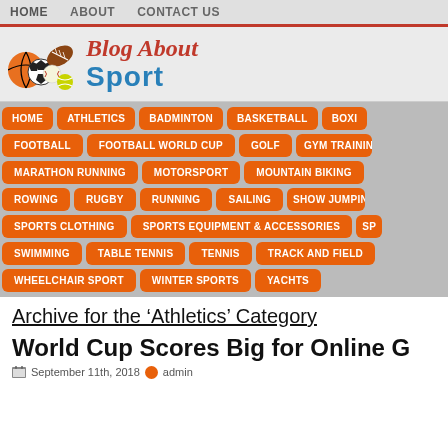HOME   ABOUT   CONTACT US
[Figure (logo): Blog About Sport logo with sports balls (basketball, soccer, football, baseball, tennis ball) and site title text 'Blog About Sport']
HOME
ATHLETICS
BADMINTON
BASKETBALL
BOXING (partial)
FOOTBALL
FOOTBALL WORLD CUP
GOLF
GYM TRAINING (partial)
MARATHON RUNNING
MOTORSPORT
MOUNTAIN BIKING
ROWING
RUGBY
RUNNING
SAILING
SHOW JUMPING (partial)
SPORTS CLOTHING
SPORTS EQUIPMENT & ACCESSORIES
SP (partial)
SWIMMING
TABLE TENNIS
TENNIS
TRACK AND FIELD
WHEELCHAIR SPORT
WINTER SPORTS
YACHTS
Archive for the 'Athletics' Category
World Cup Scores Big for Online G
September 11th, 2018   admin